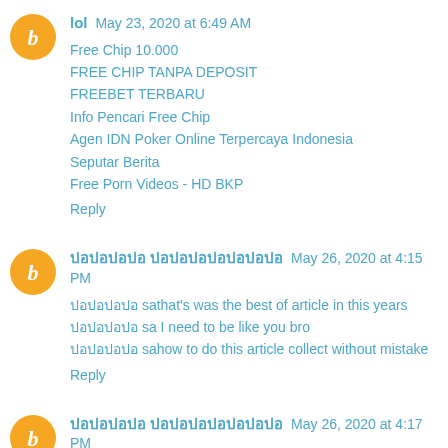lol May 23, 2020 at 6:49 AM
Free Chip 10.000
FREE CHIP TANPA DEPOSIT
FREEBET TERBARU
Info Pencari Free Chip
Agen IDN Poker Online Terpercaya Indonesia
Seputar Berita
Free Porn Videos - HD BKP
Reply
ปอปอปอปอ ปอปอปอปอปอปอปอ May 26, 2020 at 4:15 PM
ปอปอปอปอ sathat's was the best of article in this years
ปอปอปอปอ sa I need to be like you bro
ปอปอปอปอ sahow to do this article collect without mistake
Reply
ปอปอปอปอ ปอปอปอปอปอปอปอ May 26, 2020 at 4:17 PM
ปอปอปอปอ sa I used to work with good writer but for this article